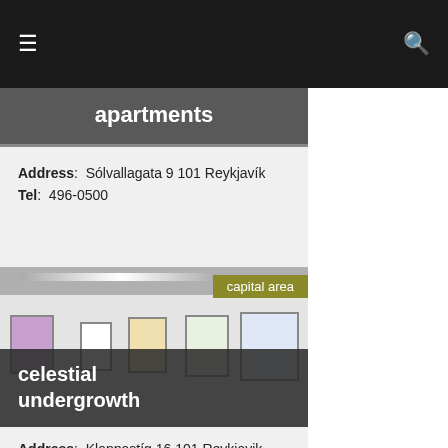≡  🔍
apartments
Address: Sólvallagata 9 101 Reykjavík
Tel: 496-0500
[Figure (photo): Interior of an art gallery with framed paintings on white walls and overhead lighting. A badge reads 'capital area'.]
celestial undergrowth
Address: Klappastíg 16 101 Reykjavik
Tel: +354 562 0001